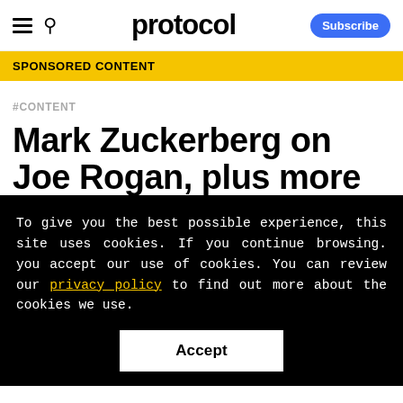protocol — Subscribe
SPONSORED CONTENT
#CONTENT
Mark Zuckerberg on Joe Rogan, plus more
To give you the best possible experience, this site uses cookies. If you continue browsing. you accept our use of cookies. You can review our privacy policy to find out more about the cookies we use.
Accept